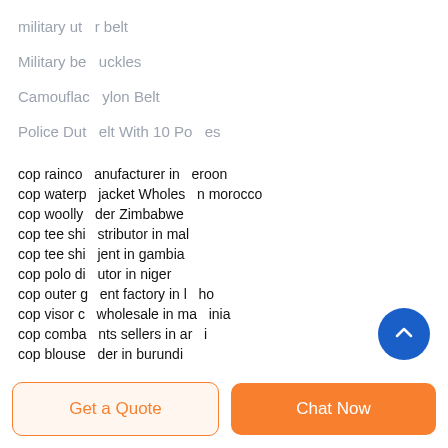military ut  r belt
Military be  uckles
Camouflac  ylon Belt
Police Dut  elt With 10 Po  es
cop rainco  anufacturer in  eroon
cop waterp  jacket Wholes  n morocco
cop woolly  der Zimbabwe
cop tee shi  stributor in mal
cop tee shi  jent in gambia
cop polo di  utor in niger
cop outer g  ent factory in l  ho
cop visor c  wholesale in ma  inia
cop comba  nts sellers in ar  i
cop blouse  der in burundi